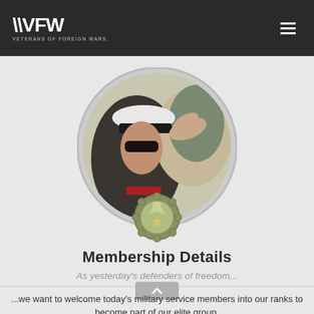VFW — Veterans of Foreign Wars
[Figure (photo): Circular cropped photograph of a military officer saluting, wearing a white peaked cap with dark visor. A hand is visible saluting the cap. Background is blurred green/olive tones. Below the circle photo is a military medal badge icon in olive/tan color with scalloped edge, featuring a medal with ribbon and star symbol.]
Membership Details
As yesterday's defenders of freedom...
...we want to welcome today's military service members into our ranks to become part of our elite group.